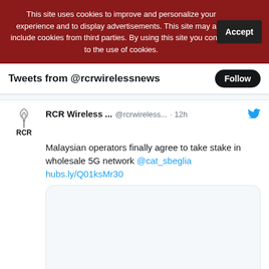This site uses cookies to improve and personalize your experience and to display advertisements. This site may also include cookies from third parties. By using this site you consent to the use of cookies.
Accept
Tweets from @rcrwirelessnews
Follow
RCR Wireless ... @rcrwireless... · 12h
Malaysian operators finally agree to take stake in wholesale 5G network @cat_sbeglia hubs.ly/Q01ksMr30
[Figure (screenshot): Empty tweet image preview box with rounded border]
[Figure (infographic): Qualcomm advertisement banner with dark navy background and large semi-transparent 5G text. Text reads: Qualcomm - Learn about 5G business opportunities in our 5G Master Classes - with a Learn more button]